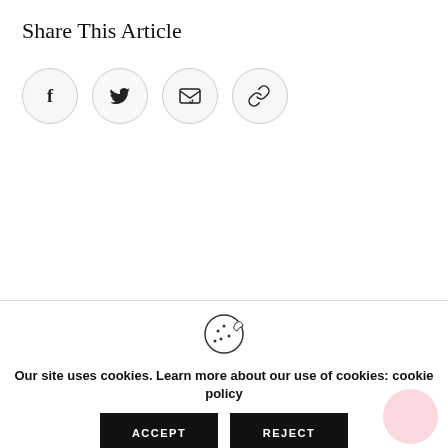Share This Article
[Figure (infographic): Four circular social share buttons: Facebook (f), Twitter (bird), Email (envelope with heart), and Link (chain link icon)]
[Figure (infographic): Cookie consent banner with cookie icon, text 'Our site uses cookies. Learn more about our use of cookies: cookie policy', and two buttons: ACCEPT and REJECT]
Our site uses cookies. Learn more about our use of cookies: cookie policy